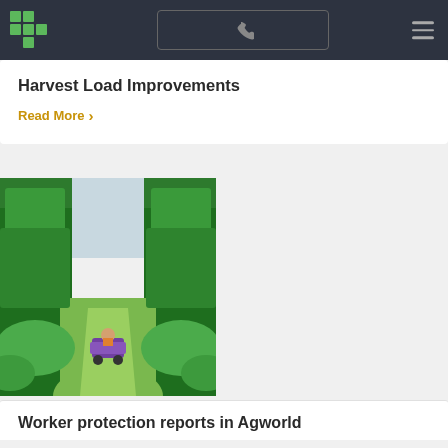Navigation bar with logo, phone button, and hamburger menu
Harvest Load Improvements
Read More >
[Figure (photo): A vehicle driving down a grassy lane between dense green orchard trees, photographed from behind.]
Worker protection reports in Agworld